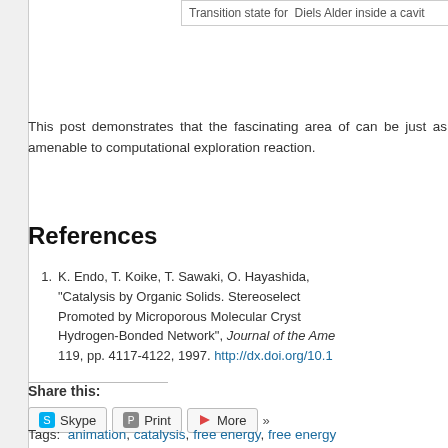Transition state for Diels Alder inside a cavit
This post demonstrates that the fascinating area of can be just as amenable to computational exploration reaction.
References
K. Endo, T. Koike, T. Sawaki, O. Hayashida, "Catalysis by Organic Solids. Stereoselect Promoted by Microporous Molecular Cryst Hydrogen-Bonded Network", Journal of the Ame 119, pp. 4117-4122, 1997. http://dx.doi.org/10.1
Share this:
Tags: animation, catalysis, free energy, free energy chemistry, Organic scaffold, pericyclic